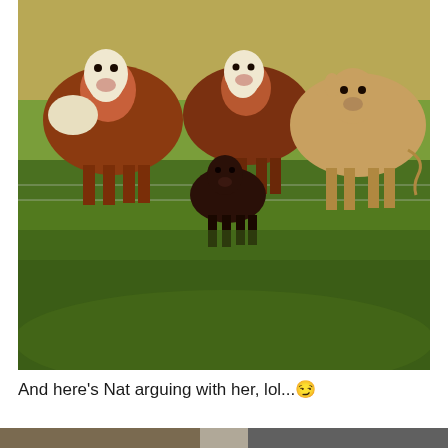[Figure (photo): A photograph of a group of cattle in a green grassy field. Several brown and white Hereford cows stand near a wire fence in the background, with a small dark brown/black calf in the center foreground. A tan/cream-colored cow stands to the right. The field has lush green grass.]
And here's Nat arguing with her, lol... 😏
[Figure (photo): Partial view of another photo at the bottom of the page, cropped.]